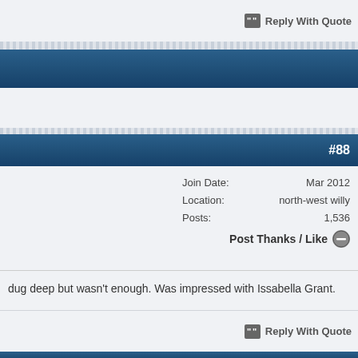Reply With Quote
#88
Join Date: Mar 2012
Location: north-west willy
Posts: 1,536
Post Thanks / Like
dug deep but wasn't enough. Was impressed with Issabella Grant.
Reply With Quote